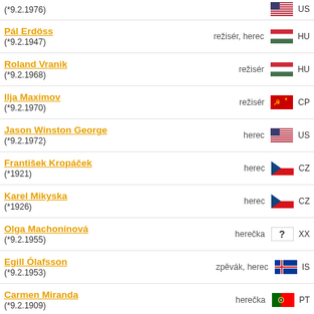(*9.2.1976) — herec, US
Pál Erdöss (*9.2.1947) — režisér, herec, HU
Roland Vranik (*9.2.1968) — režisér, HU
Ilja Maximov (*9.2.1970) — režisér, CP
Jason Winston George (*9.2.1972) — herec, US
František Kropáček (*1921) — herec, CZ
Karel Mikyska (*1926) — herec, CZ
Olga Machoninová (*9.2.1955) — herečka, XX
Egill Ólafsson (*9.2.1953) — zpěvák, herec, IS
Carmen Miranda (*9.2.1909) — herečka, PT
Oskar Gottlieb (*1942) — herec, CZ